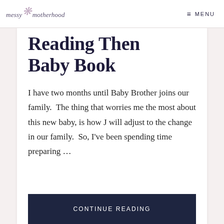messy motherhood  ≡ MENU
Reading Then Baby Book
I have two months until Baby Brother joins our family.  The thing that worries me the most about this new baby, is how J will adjust to the change in our family.  So, I've been spending time preparing …
CONTINUE READING